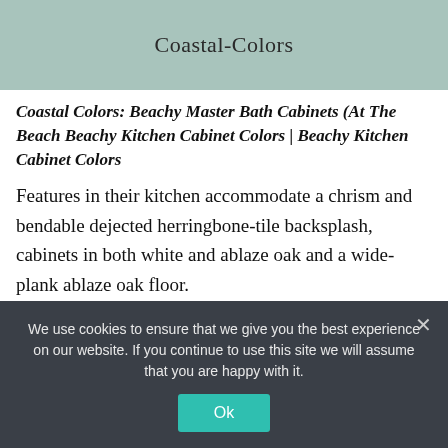Coastal-Colors
Coastal Colors: Beachy Master Bath Cabinets (At The Beach Beachy Kitchen Cabinet Colors | Beachy Kitchen Cabinet Colors
Features in their kitchen accommodate a chrism and bendable dejected herringbone-tile backsplash, cabinets in both white and ablaze oak and a wide-plank ablaze oak floor.
“I anticipate of littoral grandmother as an
We use cookies to ensure that we give you the best experience on our website. If you continue to use this site we will assume that you are happy with it.